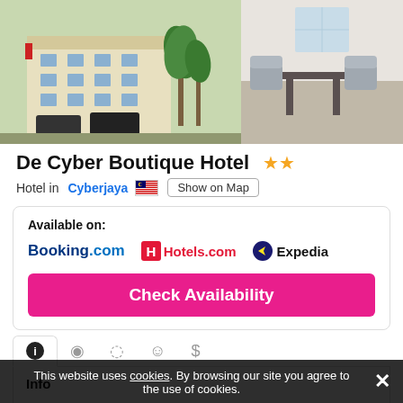[Figure (photo): Two hotel photos side by side: left shows hotel exterior building with palm trees and parked cars, right shows interior room with chairs and table.]
De Cyber Boutique Hotel ★★
Hotel in Cyberjaya 🇲🇾 Show on Map
Available on: Booking.com   Hotels.com   Expedia
Check Availability
Info
Small Hotel
Hotel for H...
Categories 1
This website uses cookies. By browsing our site you agree to the use of cookies.